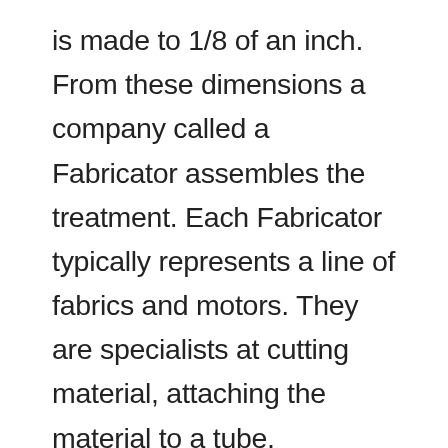is made to 1/8 of an inch. From these dimensions a company called a Fabricator assembles the treatment. Each Fabricator typically represents a line of fabrics and motors. They are specialists at cutting material, attaching the material to a tube, hemming the bottom and fixing the motor assembly in a cassette or adding the necessary hardware for mounting. Essentially, every motorized window treatment is a custom order. Often a customer will